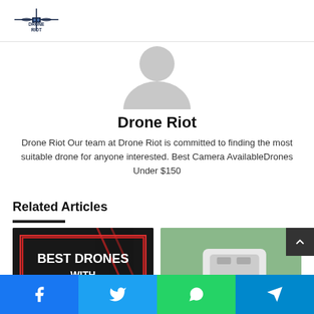[Figure (logo): Drone Riot logo with drone silhouette and horizontal lines, text DRONE RIOT]
[Figure (photo): Generic avatar placeholder silhouette, grey on white background]
Drone Riot
Drone Riot Our team at Drone Riot is committed to finding the most suitable drone for anyone interested. Best Camera AvailableDrones Under $150
Related Articles
[Figure (photo): Article thumbnail with dark background and red border, text BEST DRONES WITH]
[Figure (photo): Article thumbnail showing a white drone being held by hand, green bokeh background]